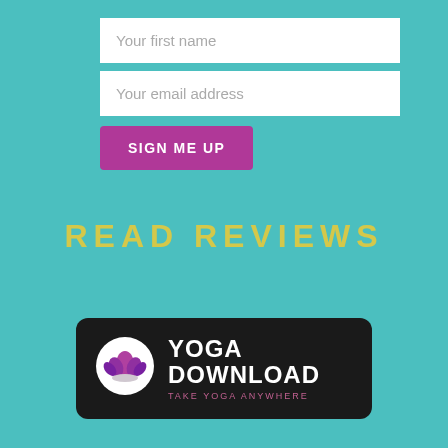Your first name
Your email address
SIGN ME UP
READ REVIEWS
[Figure (logo): Yoga Download logo with lotus flower icon on dark background. Text reads YOGA DOWNLOAD with tagline TAKE YOGA ANYWHERE.]